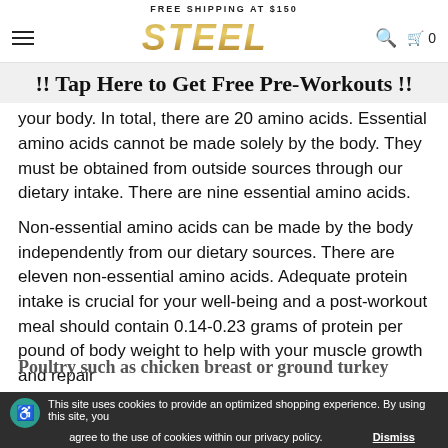FREE SHIPPING AT $150
[Figure (logo): STEEL logo in gold italic bold lettering]
!! Tap Here to Get Free Pre-Workouts !!
your body. In total, there are 20 amino acids. Essential amino acids cannot be made solely by the body. They must be obtained from outside sources through our dietary intake. There are nine essential amino acids.
Non-essential amino acids can be made by the body independently from our dietary sources. There are eleven non-essential amino acids. Adequate protein intake is crucial for your well-being and a post-workout meal should contain 0.14-0.23 grams of protein per pound of body weight to help with your muscle growth and repair
Poultry such as chicken breast or ground turkey
This site uses cookies to provide an optimized shopping experience. By using this site, you agree to the use of cookies within our privacy policy. Dismiss